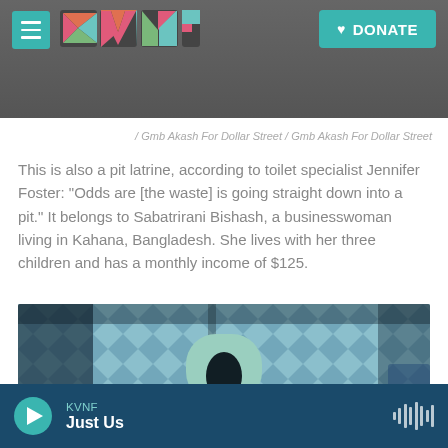KVNF logo and DONATE button navigation bar
/ Gmb Akash For Dollar Street / Gmb Akash For Dollar Street
This is also a pit latrine, according to toilet specialist Jennifer Foster: "Odds are [the waste] is going straight down into a pit." It belongs to Sabatrirani Bishash, a businesswoman living in Kahana, Bangladesh. She lives with her three children and has a monthly income of $125.
[Figure (photo): Overhead view of a squat toilet (pit latrine) in a tiled bathroom, viewed from above. The toilet is light green/teal colored against blue and white diamond-pattern tiles.]
KVNF Just Us